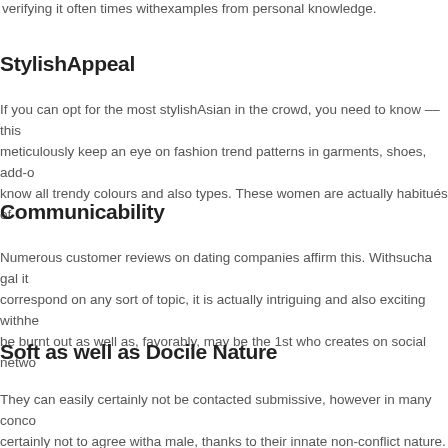verifying it often times withexamples from personal knowledge.
StylishAppeal
If you can opt for the most stylishAsian in the crowd, you need to know — this meticulously keep an eye on fashion trend patterns in garments, shoes, add-o know all trendy colours and also types. These women are actually habitués of
Communicability
Numerous customer reviews on dating companies affirm this. Withsucha gal it correspond on any sort of topic, it is actually intriguing and also exciting withhe be burnt out as well as, favorably, may be the 1st who creates on social netwo
Soft as well as Docile Nature
They can easily certainly not be contacted submissive, however in many conc certainly not to agree witha male, thanks to their innate non-conflict nature. Fe certainly not emotional, they have a tranquility and peaceful voice, thus you ca